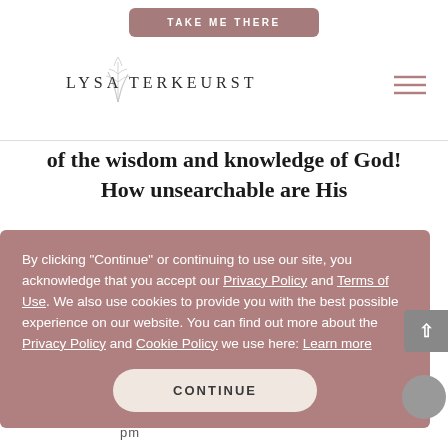[Figure (screenshot): Screenshot of Lysa TerKeurst website showing a 'TAKE ME THERE' button at the top, the Lysa TerKeurst logo with a decorative leaf illustration, a hamburger menu icon, a large bold quote text reading 'of the wisdom and knowledge of God! How unsearchable are His', partial text 'is' and 'is' visible behind a cookie consent overlay, a cookie consent dialog with text about Privacy Policy and Terms of Use with a 'CONTINUE' button, a scroll-to-top button, and partial bottom navigation elements.]